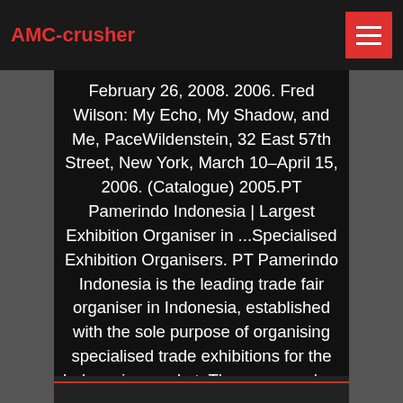AMC-crusher
February 26, 2008. 2006. Fred Wilson: My Echo, My Shadow, and Me, PaceWildenstein, 32 East 57th Street, New York, March 10–April 15, 2006. (Catalogue) 2005.PT Pamerindo Indonesia | Largest Exhibition Organiser in ...Specialised Exhibition Organisers. PT Pamerindo Indonesia is the leading trade fair organiser in Indonesia, established with the sole purpose of organising specialised trade exhibitions for the Indonesian market. The company has grown considerably and now regularly organises over 20 trade exhibitions in the following sectors: Beauty, Building & Construction, Electric & Power, ...